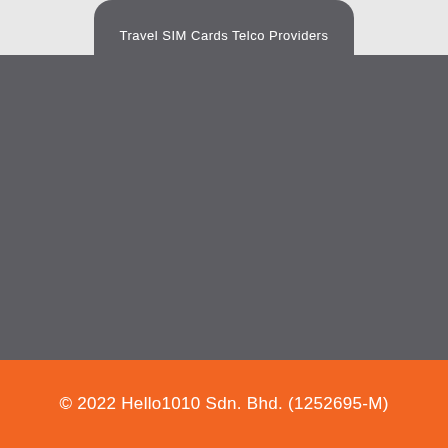Travel SIM Cards Telco Providers
© 2022 Hello1010 Sdn. Bhd. (1252695-M)